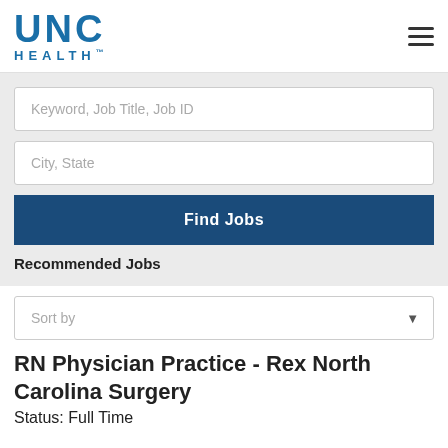[Figure (logo): UNC Health logo with blue text]
Keyword, Job Title, Job ID
City, State
Find Jobs
Recommended Jobs
Sort by
RN Physician Practice - Rex North Carolina Surgery
Status: Full Time